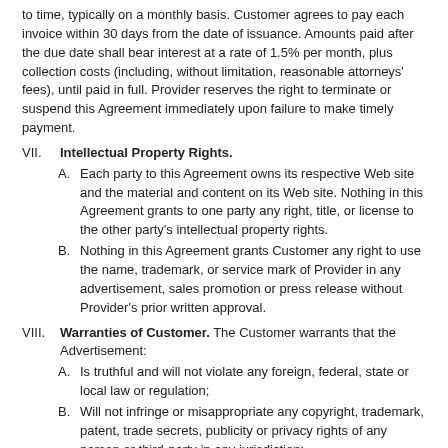to time, typically on a monthly basis. Customer agrees to pay each invoice within 30 days from the date of issuance. Amounts paid after the due date shall bear interest at a rate of 1.5% per month, plus collection costs (including, without limitation, reasonable attorneys' fees), until paid in full. Provider reserves the right to terminate or suspend this Agreement immediately upon failure to make timely payment.
VII. Intellectual Property Rights.
A. Each party to this Agreement owns its respective Web site and the material and content on its Web site. Nothing in this Agreement grants to one party any right, title, or license to the other party's intellectual property rights.
B. Nothing in this Agreement grants Customer any right to use the name, trademark, or service mark of Provider in any advertisement, sales promotion or press release without Provider's prior written approval.
VIII. Warranties of Customer. The Customer warrants that the Advertisement:
A. Is truthful and will not violate any foreign, federal, state or local law or regulation;
B. Will not infringe or misappropriate any copyright, trademark, patent, trade secrets, publicity or privacy rights of any person or third-party in any jurisdiction;